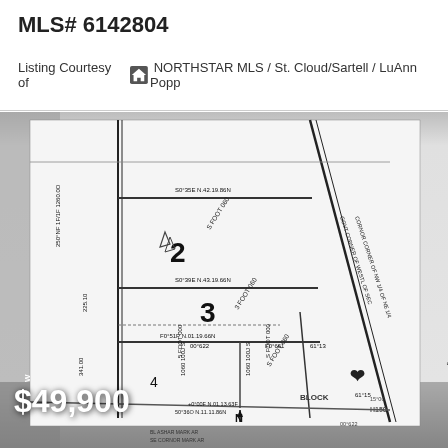MLS# 6142804
Listing Courtesy of NORTHSTAR MLS / St. Cloud/Sartell / LuAnn Popp
[Figure (other): Survey/plat map showing land parcels with lot dimensions, bearing annotations, lot numbers (2, 3, 4), and a north arrow at the bottom. Diagonal road right-of-way line visible on right side.]
$49,900